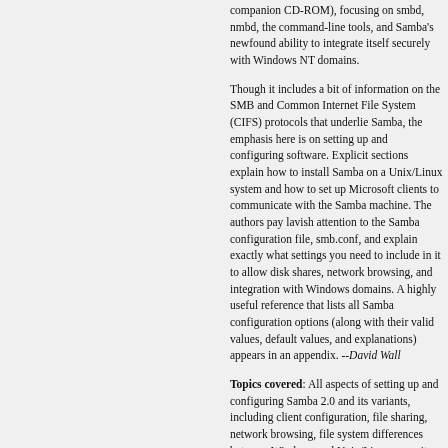companion CD-ROM), focusing on smbd, nmbd, the command-line tools, and Samba's newfound ability to integrate itself securely with Windows NT domains.
Though it includes a bit of information on the SMB and Common Internet File System (CIFS) protocols that underlie Samba, the emphasis here is on setting up and configuring software. Explicit sections explain how to install Samba on a Unix/Linux system and how to set up Microsoft clients to communicate with the Samba machine. The authors pay lavish attention to the Samba configuration file, smb.conf, and explain exactly what settings you need to include in it to allow disk shares, network browsing, and integration with Windows domains. A highly useful reference that lists all Samba configuration options (along with their valid values, default values, and explanations) appears in an appendix. --David Wall
Topics covered: All aspects of setting up and configuring Samba 2.0 and its variants, including client configuration, file sharing, network browsing, file system differences between Windows and Unix/Linux, security, and the contents of the Samba configuration file.
This book is the comprehensive guide to Samba administration, officially adopted by the Samba Team. Wondering how to integrate Samba's authentication with that of a Windows domain? How to get Samba to serve Microsoft Dfs shares? How to share files on Mac OS X? These and a dozen other issues of interest to system administrators are covered. A whole chapter is